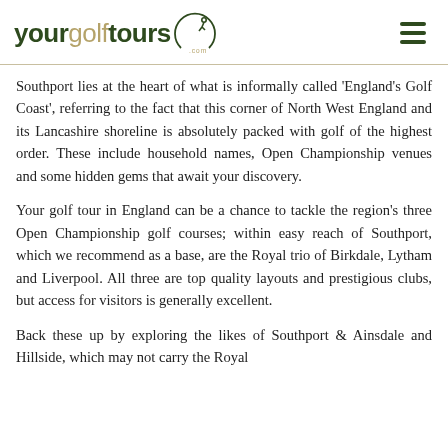yourgolftours.com
Southport lies at the heart of what is informally called 'England's Golf Coast', referring to the fact that this corner of North West England and its Lancashire shoreline is absolutely packed with golf of the highest order. These include household names, Open Championship venues and some hidden gems that await your discovery.
Your golf tour in England can be a chance to tackle the region's three Open Championship golf courses; within easy reach of Southport, which we recommend as a base, are the Royal trio of Birkdale, Lytham and Liverpool. All three are top quality layouts and prestigious clubs, but access for visitors is generally excellent.
Back these up by exploring the likes of Southport & Ainsdale and Hillside, which may not carry the Royal